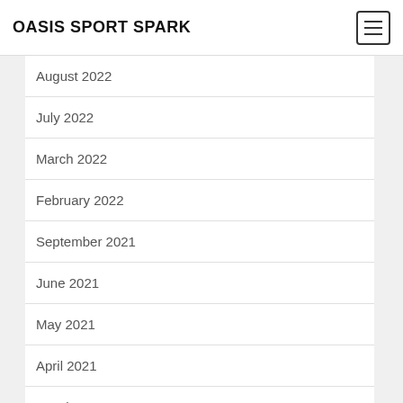OASIS SPORT SPARK
August 2022
July 2022
March 2022
February 2022
September 2021
June 2021
May 2021
April 2021
March 2021
February 2021